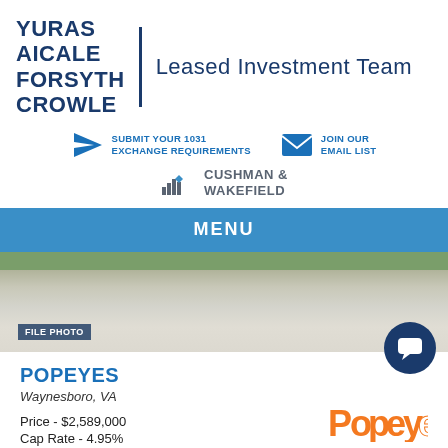[Figure (logo): Yuras Aicale Forsyth Crowle Leased Investment Team logo with vertical divider and Cushman & Wakefield branding]
SUBMIT YOUR 1031 EXCHANGE REQUIREMENTS
JOIN OUR EMAIL LIST
CUSHMAN & WAKEFIELD
MENU
[Figure (photo): File photo of a parking lot / street corner with grass and concrete curbing]
POPEYES
Waynesboro, VA
Price - $2,589,000
Cap Rate - 4.95%
[Figure (logo): Popeyes logo in orange and white]